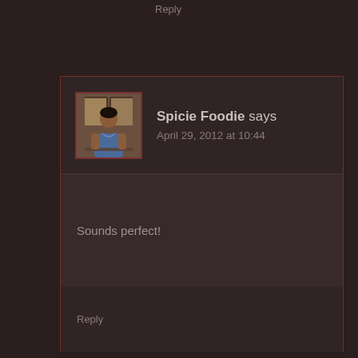Reply
[Figure (photo): Avatar photo of Spicie Foodie, a woman seated indoors]
Spicie Foodie says
April 29, 2012 at 10:44
Sounds perfect!
Reply